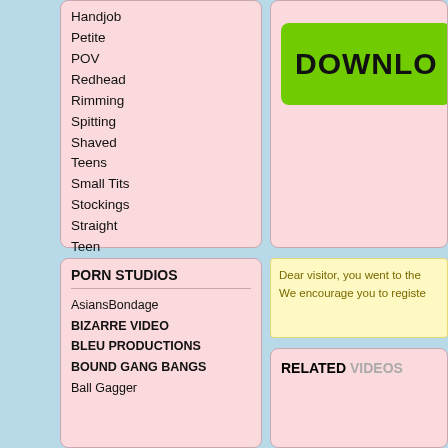Handjob
Petite
POV
Redhead
Rimming
Spitting
Shaved
Teens
Small Tits
Stockings
Straight
Teen
Tattoo
Toys
[Figure (other): Green download button partially visible on right side]
PORN STUDIOS
AsiansBondage
BIZARRE VIDEO
BLEU PRODUCTIONS
BOUND GANG BANGS
Ball Gagger
Dear visitor, you went to the We encourage you to registe
RELATED VIDEOS